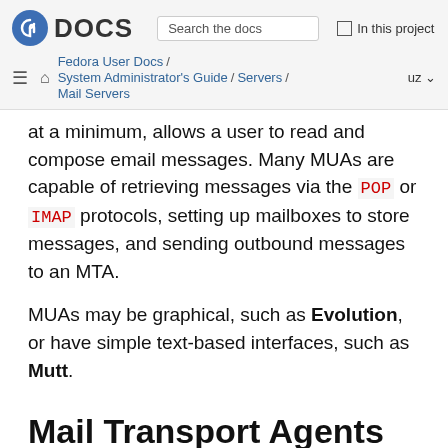Fedora DOCS — Search the docs — In this project — Fedora User Docs / System Administrator's Guide / Servers / Mail Servers — uz
at a minimum, allows a user to read and compose email messages. Many MUAs are capable of retrieving messages via the POP or IMAP protocols, setting up mailboxes to store messages, and sending outbound messages to an MTA.
MUAs may be graphical, such as Evolution, or have simple text-based interfaces, such as Mutt.
Mail Transport Agents
Fedora offers two primary MTAs: Postfix and